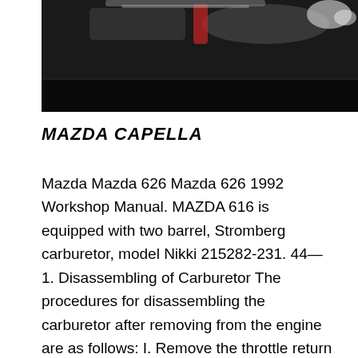[Figure (photo): Photograph of a car engine or mechanical component, dark background with metallic parts visible]
MAZDA CAPELLA
Mazda Mazda 626 Mazda 626 1992 Workshop Manual. MAZDA 616 is equipped with two barrel, Stromberg carburetor, model Nikki 215282-231. 44—1. Disassembling of Carburetor The procedures for disassembling the carburetor after removing from the engine are as follows: I. Remove the throttle return spring. 2. Remove the split pin and washer from the pump connecting and separate the rod from the lever. Remove the spring and washer from the rod, mazda mx 616 capella 1600 workshop manual m...